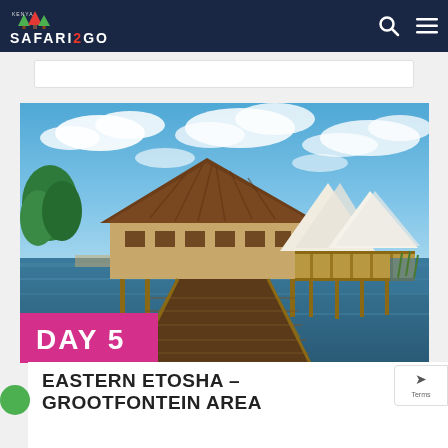SAFARI2GO
[Figure (photo): A thatched-roof lodge building on stilts over water with a wooden boardwalk/bridge leading to it, white tent structures visible to the right, blue sky with clouds above. Pink 'DAY 5' badge overlaid on lower left of photo.]
EASTERN ETOSHA - GROOTFONTEIN AREA